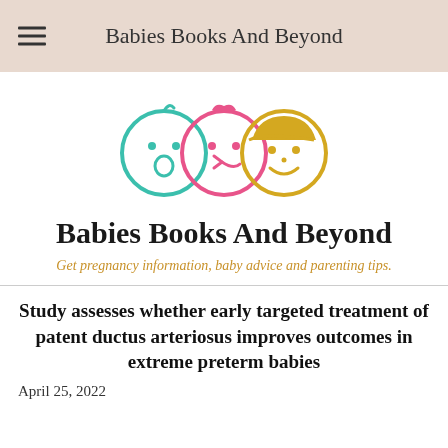Babies Books And Beyond
[Figure (logo): Three baby face icons in teal, pink, and yellow/gold circle outlines with simple facial features]
Babies Books And Beyond
Get pregnancy information, baby advice and parenting tips.
Study assesses whether early targeted treatment of patent ductus arteriosus improves outcomes in extreme preterm babies
April 25, 2022